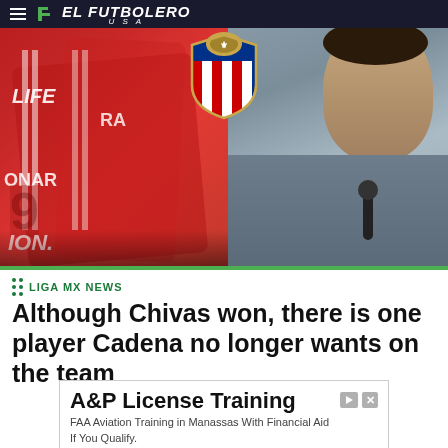EL FUTBOLERO USA
[Figure (photo): Hero image split in two: left half shows soccer players in red jerseys (Chivas colors) celebrating, with visible text LIFE, ONAR, RA, 9, ION on jerseys/stadium; right half shows a man in a grey/blue shirt speaking at a microphone. Chivas Club Deportivo Guadalajara crest overlaid in the center top area.]
LIGA MX NEWS
Although Chivas won, there is one player Cadena no longer wants on the team
[Figure (screenshot): Advertisement box for A&P License Training. Title: A&P License Training. Body: FAA Aviation Training in Manassas With Financial Aid If You Qualify. Source: Aviation Institute. Button: Open (blue).]